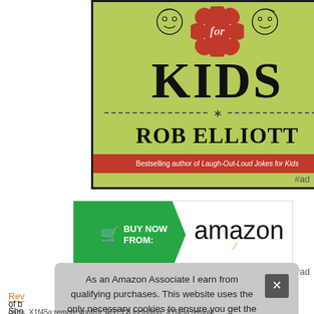[Figure (illustration): Book cover for a kids joke book by Rob Elliott on a green background. Shows 'KIDS' in large black letters, two cartoon child faces, a red flower with 'for' text, a dashed line with asterisk, author name 'ROB ELLIOTT', and red banner 'Bestselling author of Laugh-Out-Loud Jokes for Kids'.]
#ad
[Figure (screenshot): Amazon 'BUY NOW FROM:' banner ad with green arrow shape on left containing shopping cart icon and text, and Amazon logo on white on right.]
#ad
As an Amazon Associate I earn from qualifying purchases. This website uses the only necessary cookies to ensure you get the best experience on our website. More information
Rev
of b
Sho
parts. X1f45a:remote control; AG13*3 including. X1f45a:remote